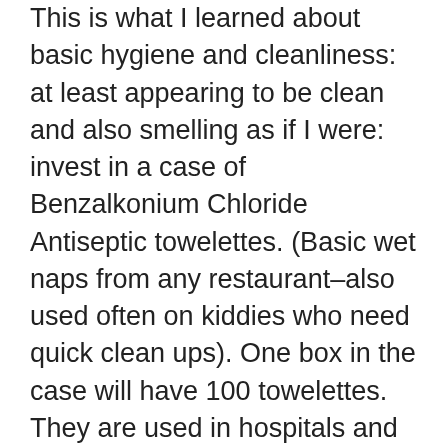This is what I learned about basic hygiene and cleanliness: at least appearing to be clean and also smelling as if I were: invest in a case of Benzalkonium Chloride Antiseptic towelettes. (Basic wet naps from any restaurant–also used often on kiddies who need quick clean ups). One box in the case will have 100 towelettes. They are used in hospitals and are available on eBay. I used these to clean my face, lady parts, hands, feet, underarms, and whatever else felt icky. They have to be torn open, but even in my most crazy moments, I can do this.I also carry them now in my purse. I tried keeping them in the glove box, but heat and sun dries them up. After using, throw them away. They do not sting my own eyes, but that is just me. My husband and I use the same brand of anti-perspirant, Mitchum